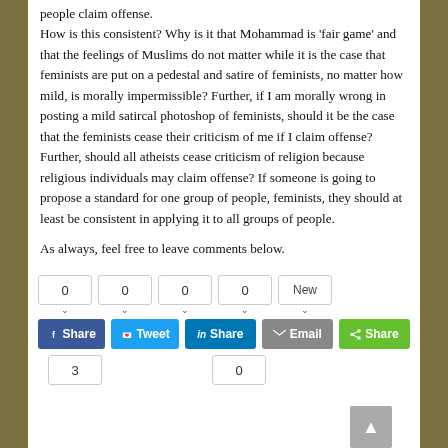people claim offense. How is this consistent? Why is it that Mohammad is 'fair game' and that the feelings of Muslims do not matter while it is the case that feminists are put on a pedestal and satire of feminists, no matter how mild, is morally impermissible? Further, if I am morally wrong in posting a mild satircal photoshop of feminists, should it be the case that the feminists cease their criticism of me if I claim offense? Further, should all atheists cease criticism of religion because religious individuals may claim offense? If someone is going to propose a standard for one group of people, feminists, they should at least be consistent in applying it to all groups of people.
As always, feel free to leave comments below.
[Figure (other): Social share buttons row with counts (0, 0, 0, 0, New) and buttons: Facebook Share, Tweet, LinkedIn Share, Email, Share (green). A scroll-to-top button is visible. Below are two count boxes showing 0 and 3.]